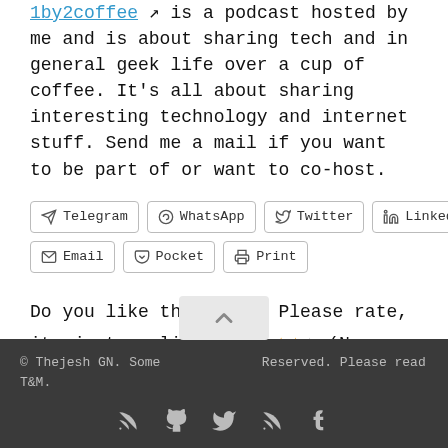is a podcast hosted by me and is about sharing tech and in general geek life over a cup of coffee. It's all about sharing interesting technology and internet stuff. Send me a mail if you want to be part of or want to co-host.
Telegram
WhatsApp
Twitter
LinkedIn
Email
Pocket
Print
Do you like this post? Please rate, its just a click :) ★★★★☆ (No Ratings Yet)
© Thejesh GN. Some Reserved. Please read T&M.